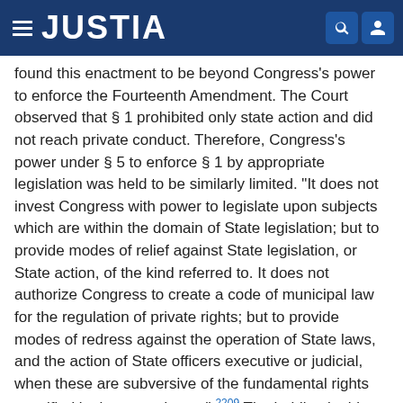JUSTIA
found this enactment to be beyond Congress's power to enforce the Fourteenth Amendment. The Court observed that § 1 prohibited only state action and did not reach private conduct. Therefore, Congress's power under § 5 to enforce § 1 by appropriate legislation was held to be similarly limited. “It does not invest Congress with power to legislate upon subjects which are within the domain of State legislation; but to provide modes of relief against State legislation, or State action, of the kind referred to. It does not authorize Congress to create a code of municipal law for the regulation of private rights; but to provide modes of redress against the operation of State laws, and the action of State officers executive or judicial, when these are subversive of the fundamental rights specified in the amendment.” 2209 The holding in this case had already been preceded by United States v. Cruikshank